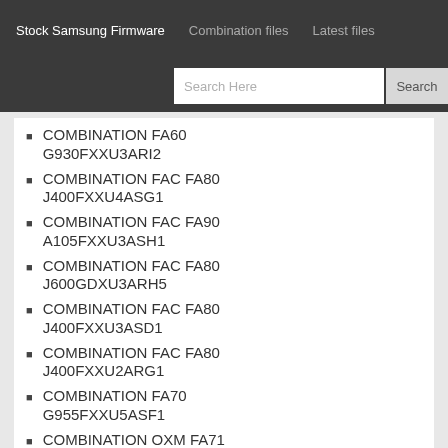Stock Samsung Firmware   Combination files   Latest files
COMBINATION FA60 G930FXXU3ARI2
COMBINATION FAC FA80 J400FXXU4ASG1
COMBINATION FAC FA90 A105FXXU3ASH1
COMBINATION FAC FA80 J600GDXU3ARH5
COMBINATION FAC FA80 J400FXXU3ASD1
COMBINATION FAC FA80 J400FXXU2ARG1
COMBINATION FA70 G955FXXU5ASF1
COMBINATION OXM FA71 A530FXXU4ASB1